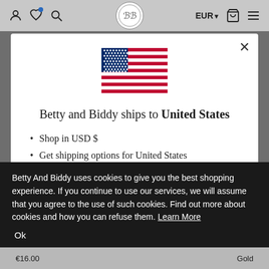EUR  [navbar with icons]
[Figure (screenshot): Modal dialog showing US flag, shipping message, and list items on a white card over a grey background]
Betty and Biddy ships to United States
Shop in USD $
Get shipping options for United States
Betty And Biddy uses cookies to give you the best shopping experience. If you continue to use our services, we will assume that you agree to the use of such cookies. Find out more about cookies and how you can refuse them. Learn More
Ok
€16.00   Gold